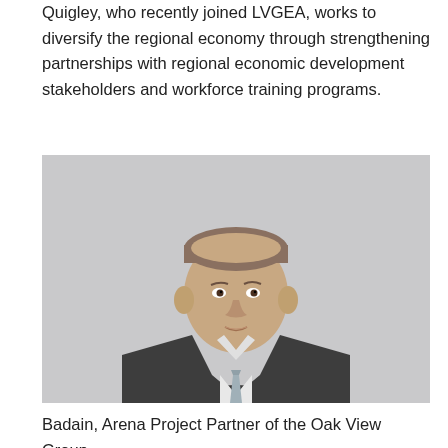Quigley, who recently joined LVGEA, works to diversify the regional economy through strengthening partnerships with regional economic development stakeholders and workforce training programs.
[Figure (photo): Professional headshot of a middle-aged man in a dark grey suit with a light grey tie, against a grey background]
Badain, Arena Project Partner of the Oak View Group